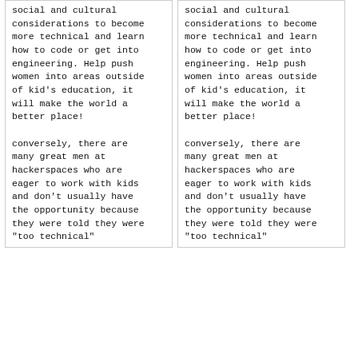social and cultural considerations to become more technical and learn how to code or get into engineering. Help push women into areas outside of kid's education, it will make the world a better place!
conversely, there are many great men at hackerspaces who are eager to work with kids and don't usually have the opportunity because they were told they were "too technical"
social and cultural considerations to become more technical and learn how to code or get into engineering. Help push women into areas outside of kid's education, it will make the world a better place!
conversely, there are many great men at hackerspaces who are eager to work with kids and don't usually have the opportunity because they were told they were "too technical"